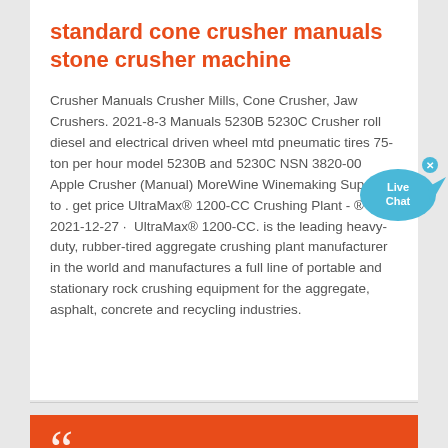standard cone crusher manuals stone crusher machine
Crusher Manuals Crusher Mills, Cone Crusher, Jaw Crushers. 2021-8-3 Manuals 5230B 5230C Crusher roll diesel and electrical driven wheel mtd pneumatic tires 75-ton per hour model 5230B and 5230C NSN 3820-00 Apple Crusher (Manual) MoreWine Winemaking Supplies to . get price UltraMax® 1200-CC Crushing Plant - ® . 2021-12-27 · UltraMax® 1200-CC. is the leading heavy-duty, rubber-tired aggregate crushing plant manufacturer in the world and manufactures a full line of portable and stationary rock crushing equipment for the aggregate, asphalt, concrete and recycling industries.
[Figure (other): Live Chat badge — a cyan/blue speech bubble with fish tail shape containing white text 'Live Chat' and a small blue X close button in the top right corner]